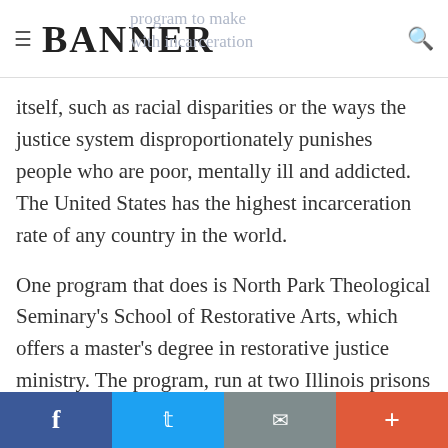BANNER
itself, such as racial disparities or the ways the justice system disproportionately punishes people who are poor, mentally ill and addicted. The United States has the highest incarceration rate of any country in the world.
One program that does is North Park Theological Seminary's School of Restorative Arts, which offers a master's degree in restorative justice ministry. The program, run at two Illinois prisons (one for
f  t  ✉  +